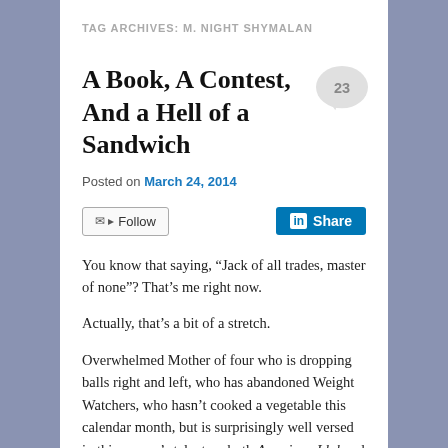TAG ARCHIVES: M. NIGHT SHYMALAN
A Book, A Contest, And a Hell of a Sandwich
Posted on March 24, 2014
Follow  Share
You know that saying, “Jack of all trades, master of none”? That’s me right now.
Actually, that’s a bit of a stretch.
Overwhelmed Mother of four who is dropping balls right and left, who has abandoned Weight Watchers, who hasn’t cooked a vegetable this calendar month, but is surprisingly well versed in this season’s talent on both American Idol and The Voice. Who may also have a teeny